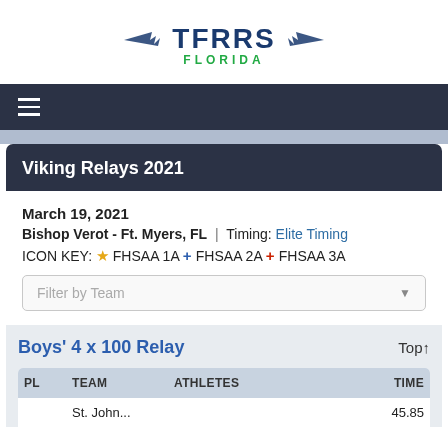[Figure (logo): TFRRS Florida logo with wings]
Viking Relays 2021
March 19, 2021
Bishop Verot - Ft. Myers, FL | Timing: Elite Timing
ICON KEY: ★ FHSAA 1A + FHSAA 2A + FHSAA 3A
Filter by Team
Boys' 4 x 100 Relay
| PL | TEAM | ATHLETES | TIME |
| --- | --- | --- | --- |
|  | St. John... |  | 45.85... |